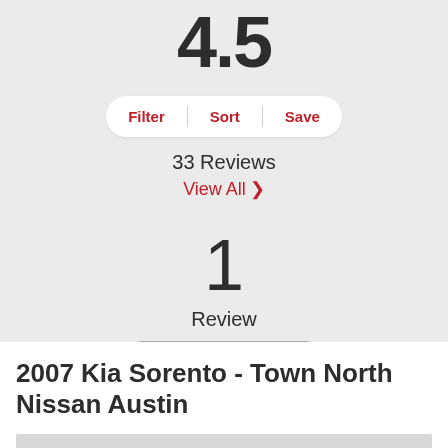4.5
Filter | Sort | Save
33 Reviews
View All >
1
Review
2007 Kia Sorento - Town North Nissan Austin
[Figure (photo): Gray placeholder image area at bottom of page]